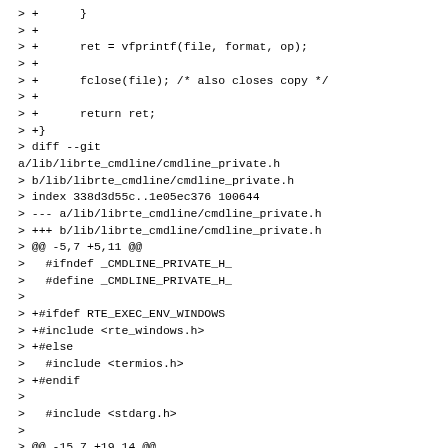> +      }
> +
> +      ret = vfprintf(file, format, op);
> +
> +      fclose(file); /* also closes copy */
> +
> +      return ret;
> +}
> diff --git a/lib/librte_cmdline/cmdline_private.h
> b/lib/librte_cmdline/cmdline_private.h
> index 338d3d55c..1e05ec376 100644
> --- a/lib/librte_cmdline/cmdline_private.h
> +++ b/lib/librte_cmdline/cmdline_private.h
> @@ -5,7 +5,11 @@
>   #ifndef _CMDLINE_PRIVATE_H_
>   #define _CMDLINE_PRIVATE_H_
> 
> +#ifdef RTE_EXEC_ENV_WINDOWS
> +#include <rte_windows.h>
> +#else
>   #include <termios.h>
> +#endif
> 
>   #include <stdarg.h>
> 
> @@ -15,7 +19,14 @@
>   #include <cmdline_parse.h>
> 
>   struct terminal {